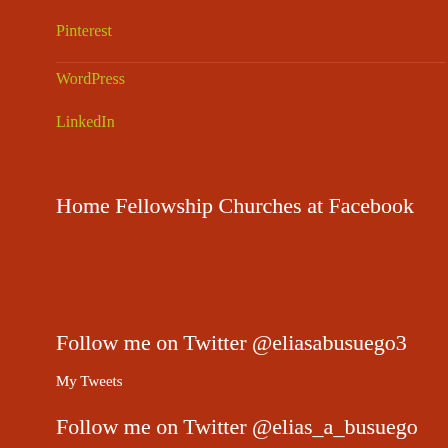Pinterest
WordPress
LinkedIn
Home Fellowship Churches at Facebook
Follow me on Twitter @eliasabusuego3
My Tweets
Follow me on Twitter @elias_a_busuego
My Tweets